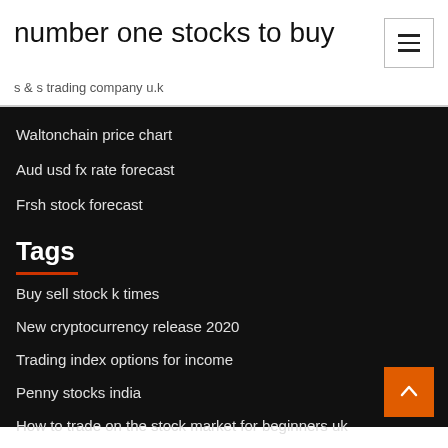number one stocks to buy
s & s trading company u.k
Waltonchain price chart
Aud usd fx rate forecast
Frsh stock forecast
Tags
Buy sell stock k times
New cryptocurrency release 2020
Trading index options for income
Penny stocks india
How to trade on the stock market for beginners uk